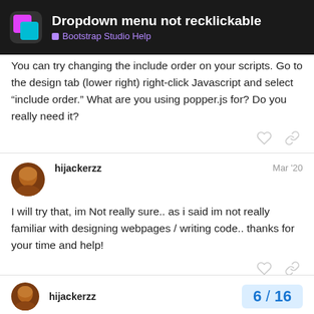Dropdown menu not recklickable — Bootstrap Studio Help
You can try changing the include order on your scripts. Go to the design tab (lower right) right-click Javascript and select "include order." What are you using popper.js for? Do you really need it?
hijackerzz   Mar '20
I will try that, im Not really sure.. as i said im not really familiar with designing webpages / writing code.. thanks for your time and help!
hijackerzz   6 / 16